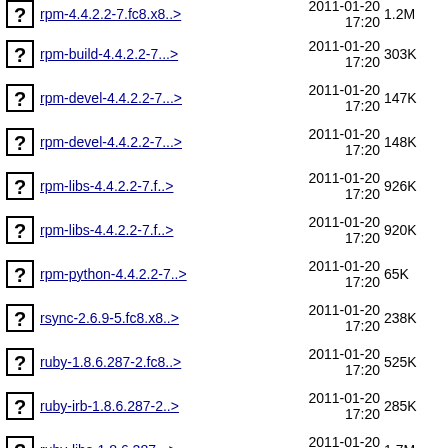rpm-build-4.4.2.2-7...>  2011-01-20 17:20  303K
rpm-devel-4.4.2.2-7...>  2011-01-20 17:20  147K
rpm-devel-4.4.2.2-7...>  2011-01-20 17:20  148K
rpm-libs-4.4.2.2-7.f..>  2011-01-20 17:20  926K
rpm-libs-4.4.2.2-7.f..>  2011-01-20 17:20  920K
rpm-python-4.4.2.2-7..>  2011-01-20 17:20  65K
rsync-2.6.9-5.fc8.x8..>  2011-01-20 17:20  238K
ruby-1.8.6.287-2.fc8..>  2011-01-20 17:20  525K
ruby-irb-1.8.6.287-2..>  2011-01-20 17:20  285K
ruby-libs-1.8.6.287-..>  2011-01-20 17:20  1.7M
ruby-libs-1.8.6.287-..>  2011-01-20 17:20  1.7M